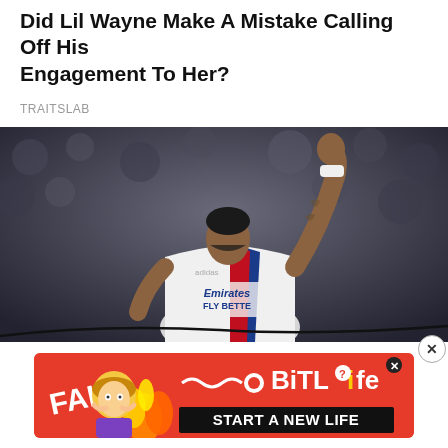Did Lil Wayne Make A Mistake Calling Off His Engagement To Her?
TRAITSLAB
[Figure (photo): Soccer player in white Olympique Lyonnais Emirates Fly Better jersey raising fist in the air in front of blurred crowd]
Tottenham Hotspur given all clear to complete Lucas Paqueta transfer
Tottenham Hotspur have received a boost in their pursuit of Olympique
[Figure (infographic): BitLife advertisement banner with FAIL graphic, cartoon character, fire, and START A NEW LIFE text on red background]